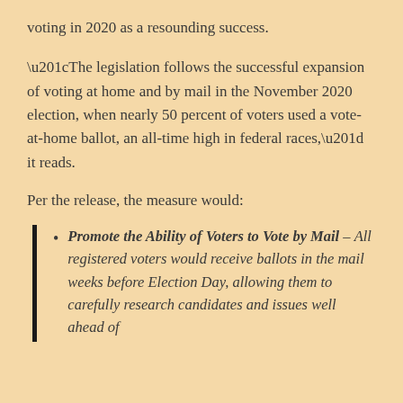voting in 2020 as a resounding success.
“The legislation follows the successful expansion of voting at home and by mail in the November 2020 election, when nearly 50 percent of voters used a vote-at-home ballot, an all-time high in federal races,” it reads.
Per the release, the measure would:
Promote the Ability of Voters to Vote by Mail – All registered voters would receive ballots in the mail weeks before Election Day, allowing them to carefully research candidates and issues well ahead of